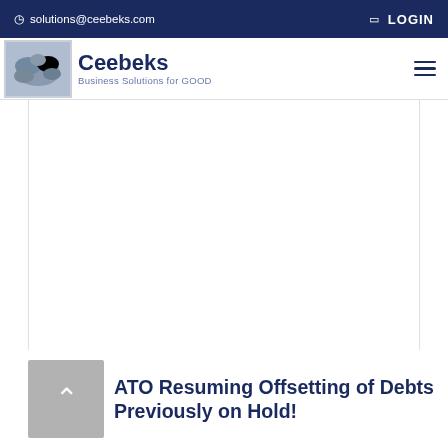solutions@ceebeks.com   LOGIN
[Figure (logo): Ceebeks logo with hands image and tagline 'Business Solutions for GOOD']
ATO Resuming Offsetting of Debts Previously on Hold!